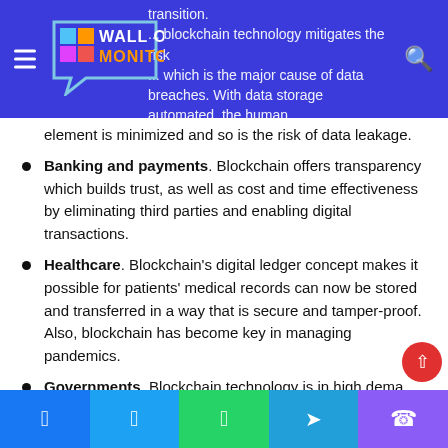Wall of Monitors - navigation header with logo
element is minimized and so is the risk of data leakage.
Banking and payments. Blockchain offers transparency which builds trust, as well as cost and time effectiveness by eliminating third parties and enabling digital transactions.
Healthcare. Blockchain's digital ledger concept makes it possible for patients' medical records can now be stored and transferred in a way that is secure and tamper-proof. Also, blockchain has become key in managing pandemics.
Governments. Blockchain technology is in high demand in government agencies and public sector institutions
Facebook | Twitter | WhatsApp | Telegram | Viber share buttons